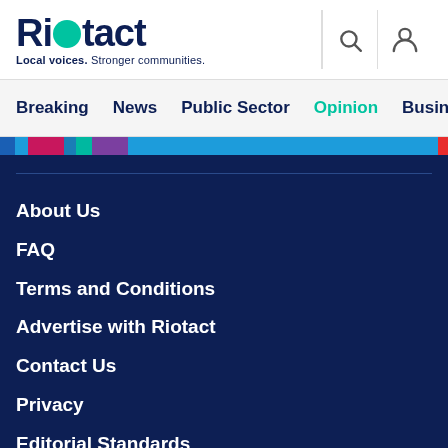Riotact — Local voices. Stronger communities.
Breaking  News  Public Sector  Opinion  Business  R
About Us
FAQ
Terms and Conditions
Advertise with Riotact
Contact Us
Privacy
Editorial Standards
Breaking  ∨  News  ∨